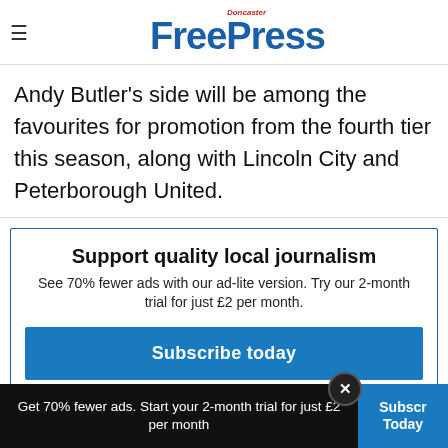Doncaster Free Press
Andy Butler’s side will be among the favourites for promotion from the fourth tier this season, along with Lincoln City and Peterborough United.
Support quality local journalism
See 70% fewer ads with our ad-lite version. Try our 2-month trial for just £2 per month.
Subscribe today
Get 70% fewer ads. Start your 2-month trial for just £2 per month